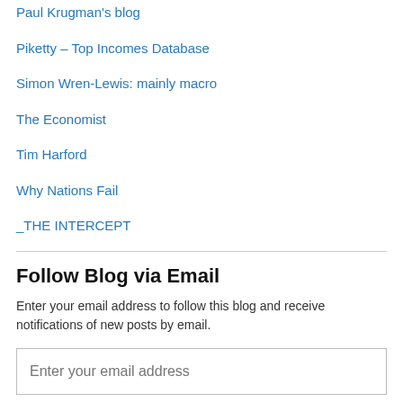Paul Krugman's blog
Piketty – Top Incomes Database
Simon Wren-Lewis: mainly macro
The Economist
Tim Harford
Why Nations Fail
_THE INTERCEPT
Follow Blog via Email
Enter your email address to follow this blog and receive notifications of new posts by email.
Categories